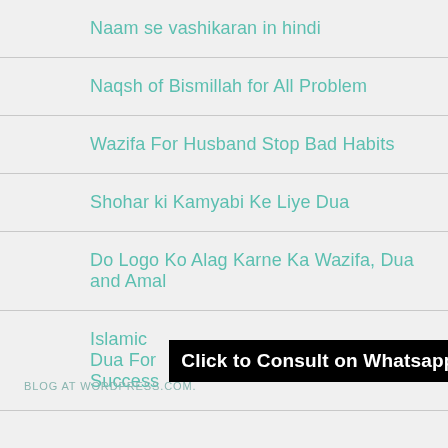Naam se vashikaran in hindi
Naqsh of Bismillah for All Problem
Wazifa For Husband Stop Bad Habits
Shohar ki Kamyabi Ke Liye Dua
Do Logo Ko Alag Karne Ka Wazifa, Dua and Amal
Islamic Dua For Success
[Figure (screenshot): Black banner overlay with white bold text reading 'Click to Consult on Whatsapp']
BLOG AT WORDPRESS.COM.